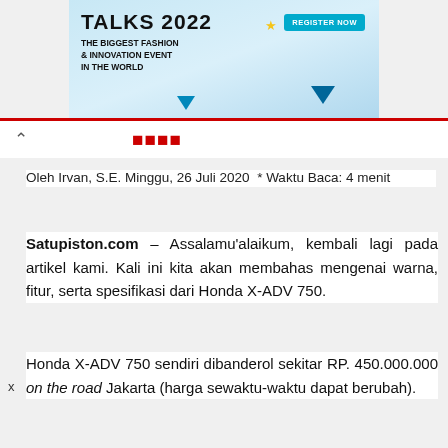[Figure (screenshot): Advertisement banner for TALKS 2022 - The Biggest Fashion & Innovation Event in the World, with Register Now button]
Satupiston.com (site logo/name in red)
Oleh Irvan, S.E. Minggu, 26 Juli 2020  * Waktu Baca: 4 menit
Satupiston.com – Assalamu'alaikum, kembali lagi pada artikel kami. Kali ini kita akan membahas mengenai warna, fitur, serta spesifikasi dari Honda X-ADV 750.
Honda X-ADV 750 sendiri dibanderol sekitar RP. 450.000.000 on the road Jakarta (harga sewaktu-waktu dapat berubah).